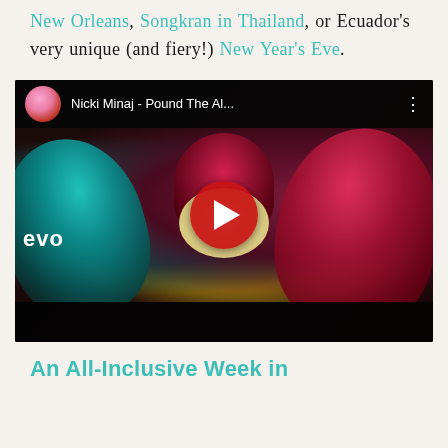New Orleans, Songkran in Thailand, or Ecuador's very unique (and fiery!) New Year's Eve.
[Figure (screenshot): YouTube video embed showing Nicki Minaj - Pound The Al... music video with colorful carnival feather costumes, YouTube play button overlay, and 'evo' watermark in bottom left]
An All-Inclusive Week in